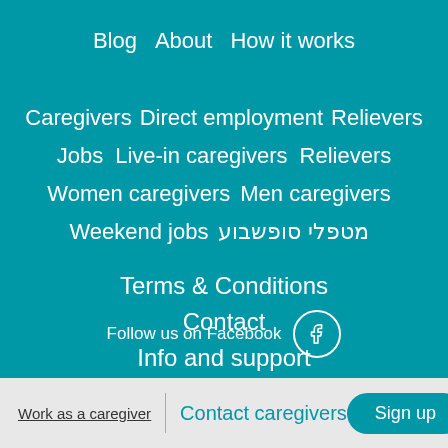Blog   About   How it works
Caregivers   Direct employment   Relievers
Jobs   Live-in caregivers   Relievers
Women caregivers   Men caregivers
Weekend jobs   מטפלי סופשבוע
Terms & Conditions
Contact
Info and support
Follow us on Facebook
Work as a caregiver | Contact caregivers   Sign up